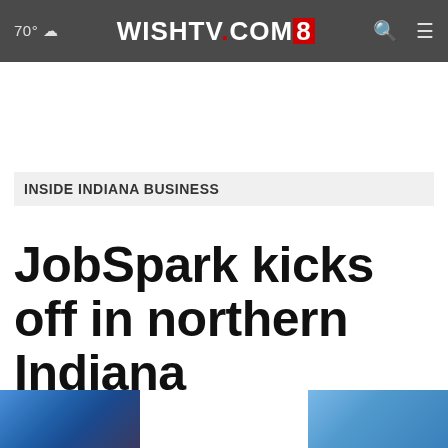70° ☁  WISHTV.COM8  🔍 ☰
INSIDE INDIANA BUSINESS
JobSpark kicks off in northern Indiana
[Figure (photo): Two partial blue-toned thumbnail images visible at the bottom of the page, likely related to the JobSpark article.]